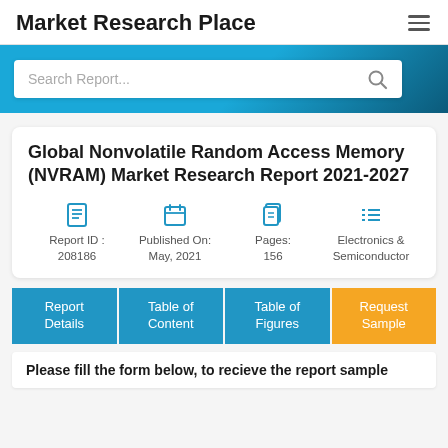Market Research Place
[Figure (screenshot): Search bar with 'Search Report...' placeholder on a blue banner background]
Global Nonvolatile Random Access Memory (NVRAM) Market Research Report 2021-2027
Report ID : 208186 | Published On: May, 2021 | Pages: 156 | Electronics & Semiconductor
Report Details | Table of Content | Table of Figures | Request Sample
Please fill the form below, to recieve the report sample